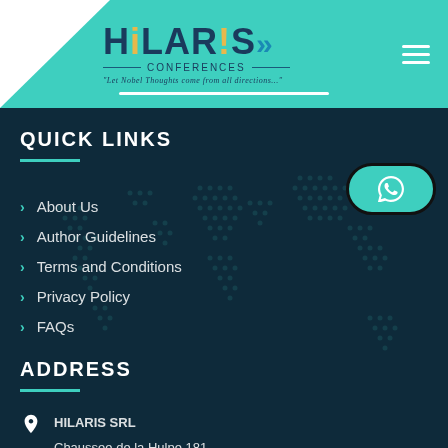[Figure (logo): Hilaris Conferences logo with teal background, white triangle, hamburger menu icon]
QUICK LINKS
About Us
Author Guidelines
Terms and Conditions
Privacy Policy
FAQs
ADDRESS
HILARIS SRL
Chaussee de la Hulpe 181,
Box 21, 1170